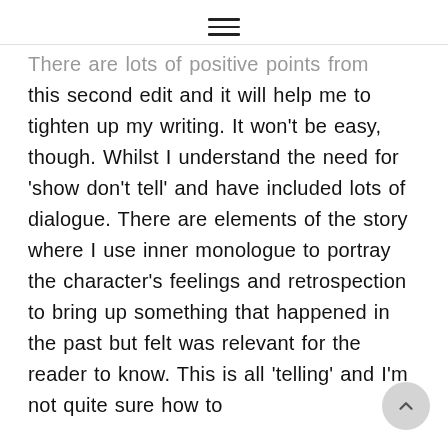≡
There are lots of positive points from this second edit and it will help me to tighten up my writing. It won't be easy, though. Whilst I understand the need for 'show don't tell' and have included lots of dialogue. There are elements of the story where I use inner monologue to portray the character's feelings and retrospection to bring up something that happened in the past but felt was relevant for the reader to know. This is all 'telling' and I'm not quite sure how to